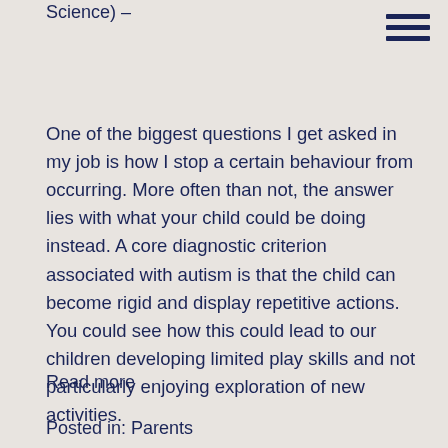Science) –
One of the biggest questions I get asked in my job is how I stop a certain behaviour from occurring. More often than not, the answer lies with what your child could be doing instead. A core diagnostic criterion associated with autism is that the child can become rigid and display repetitive actions. You could see how this could lead to our children developing limited play skills and not particularly enjoying exploration of new activities.
Read more
Posted in: Parents